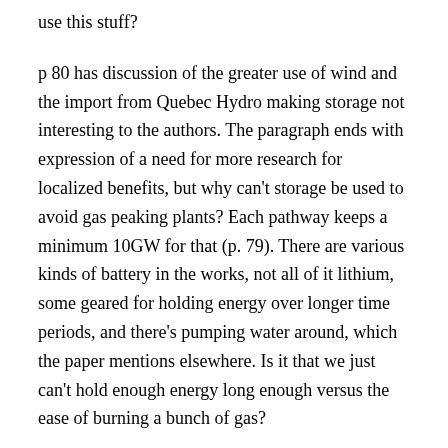use this stuff?
p 80 has discussion of the greater use of wind and the import from Quebec Hydro making storage not interesting to the authors. The paragraph ends with expression of a need for more research for localized benefits, but why can't storage be used to avoid gas peaking plants? Each pathway keeps a minimum 10GW for that (p. 79). There are various kinds of battery in the works, not all of it lithium, some geared for holding energy over longer time periods, and there's pumping water around, which the paper mentions elsewhere. Is it that we just can't hold enough energy long enough versus the ease of burning a bunch of gas?
I feel like 15 GW won't be that hard to get to despite our limited progress to date. This is probably driven by overly rosy shows like Energy Week (Brattleboro Community Television) citing Cleantechnica articles, but seems to me GE or, what's it, the big Danish turbine maker expect to be making offshore towers in the mid 20s of MW each within a few years. You noticed how just in the delays with Vineyard Wind they came out using a 14 MW turbine instead of a 12 or whatever, and used fewer